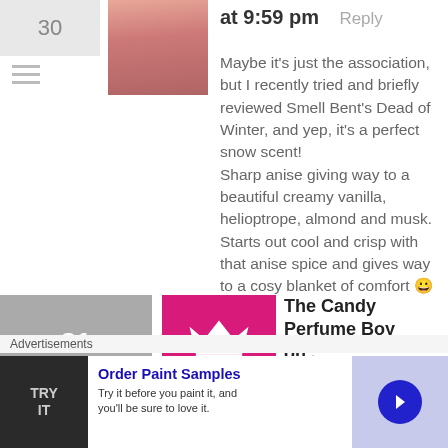30
[Figure (photo): User avatar photo showing partial face with reddish tones]
at 9:59 pm   Reply
Maybe it’s just the association, but I recently tried and briefly reviewed Smell Bent’s Dead of Winter, and yep, it’s a perfect snow scent!
Sharp anise giving way to a beautiful creamy vanilla, helioptrope, almond and musk. Starts out cool and crisp with that anise spice and gives way to a cosy blanket of comfort 😀
31
[Figure (logo): The Candy Perfume Boy logo: pink/magenta square with white crown and silhouette]
The Candy Perfume Boy on February 7, 2012 at 10:13 pm
Reply
That sounds fab! I really need to
Advertisements
[Figure (infographic): Advertisement banner: Order Paint Samples - Try it before you paint it, and you'll be sure to love it.]